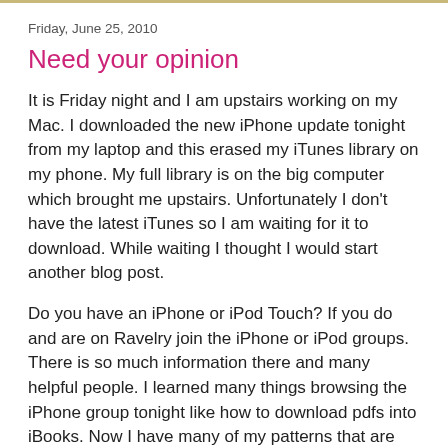Friday, June 25, 2010
Need your opinion
It is Friday night and I am upstairs working on my Mac.  I downloaded the new iPhone update tonight from my laptop and this erased my iTunes library on my phone.  My full library is on the big computer which brought me upstairs.  Unfortunately I don't have the latest iTunes so I am waiting for it to download.  While waiting I thought I would start another blog post.
Do you have an iPhone or iPod Touch?  If you do and are on Ravelry join the iPhone or iPod groups.  There is so much information there and many helpful people.  I learned many things browsing the iPhone group tonight like how to download pdfs into iBooks.  Now I have many of my patterns that are stored in my Ravelry library on my iPad.  (I think I have mentioned every Apple product now!!)
I must say that my blog looks really good on the big screen